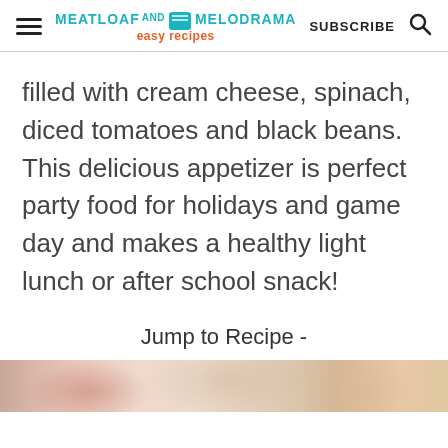MEATLOAF AND MELODRAMA easy recipes | SUBSCRIBE
filled with cream cheese, spinach, diced tomatoes and black beans. This delicious appetizer is perfect party food for holidays and game day and makes a healthy light lunch or after school snack!
Jump to Recipe -
[Figure (photo): Bottom strip showing a partial food photo with pinkish and beige tones]